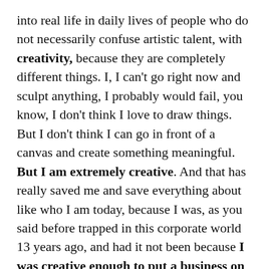into real life in daily lives of people who do not necessarily confuse artistic talent, with creativity, because they are completely different things. I, I can't go right now and sculpt anything, I probably would fail, you know, I don't think I love to draw things. But I don't think I can go in front of a canvas and create something meaningful. But I am extremely creative. And that has really saved me and save everything about like who I am today, because I was, as you said before trapped in this corporate world 13 years ago, and had it not been because I was creative enough to put a business on the map and differentiate myself from my competitors. And come with a very fresh and new proposition I would have never gotten this far, in a completely different field in business and pivoting in